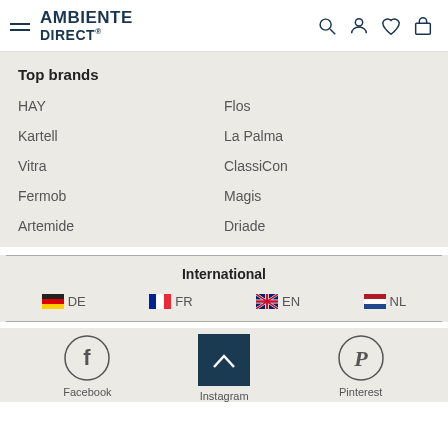AMBIENTE DIRECT
Top brands
HAY
Flos
Kartell
La Palma
Vitra
ClassiCon
Fermob
Magis
Artemide
Driade
International
DE FR EN NL
Facebook Instagram Pinterest